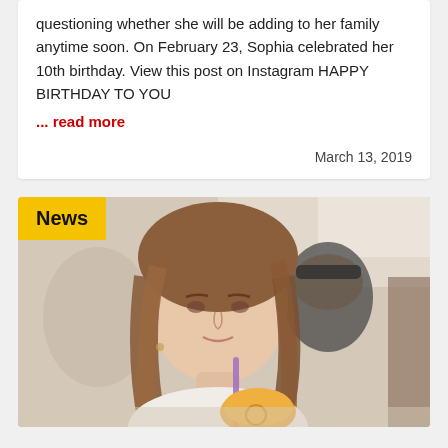questioning whether she will be adding to her family anytime soon. On February 23, Sophia celebrated her 10th birthday. View this post on Instagram HAPPY BIRTHDAY TO YOU
... read more
March 13, 2019
[Figure (photo): Woman with long brown hair drinking from a cup with a straw, seated in a cafe or restaurant setting. A man in a black cap is visible in the blurred background. A yellow 'News' badge overlays the top-left corner of the image.]